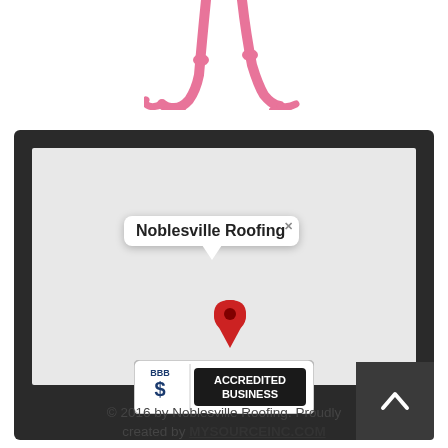[Figure (illustration): Pink flamingo legs and feet at the top of the page, cartoon style]
[Figure (map): Google Maps screenshot embedded in a dark monitor/TV frame showing a location pin labeled 'Noblesville Roofing' on a grey map with a tooltip popup]
[Figure (logo): BBB Accredited Business badge/logo]
© 2016 by Noblesville Roofing. Proudly created by MYSOURCEINC.COM